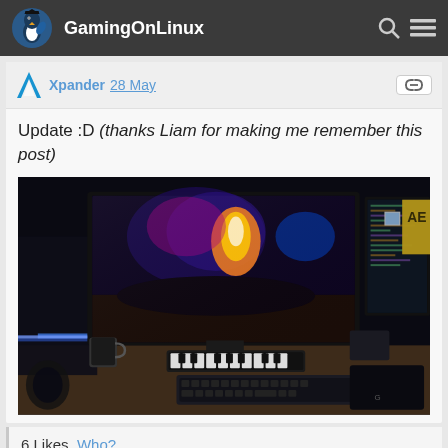GamingOnLinux
Xpander 28 May
Update :D (thanks Liam for making me remember this post)
[Figure (photo): A gaming/workstation desk setup with two monitors showing colorful wallpaper and code editor, a mini MIDI keyboard, mechanical keyboard, mug, and blue LED lighting in a dark room.]
6 Likes, Who?